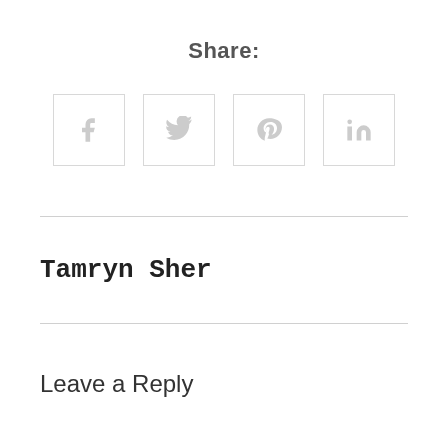Share:
[Figure (other): Four social media share icon buttons in bordered square boxes: Facebook (f), Twitter (bird), Pinterest (p), LinkedIn (in)]
Tamryn Sher
Leave a Reply